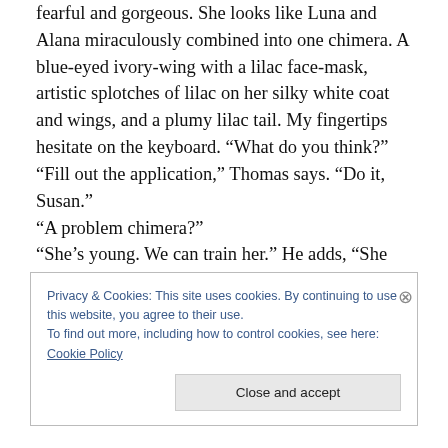fearful and gorgeous. She looks like Luna and Alana miraculously combined into one chimera. A blue-eyed ivory-wing with a lilac face-mask, artistic splotches of lilac on her silky white coat and wings, and a plumy lilac tail. My fingertips hesitate on the keyboard. “What do you think?”
“Fill out the application,” Thomas says. “Do it, Susan.”
“A problem chimera?”
“She’s young. We can train her.” He adds, “She needs us.”
I feverishly navigate through the website. “You know, it will be a lot of extra work, caring for a chimera again. Just
Privacy & Cookies: This site uses cookies. By continuing to use this website, you agree to their use.
To find out more, including how to control cookies, see here: Cookie Policy